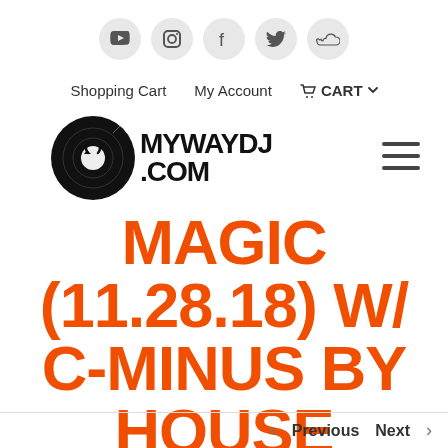Social icons: YouTube, Instagram, Facebook, Twitter, SoundCloud
Shopping Cart   My Account   🛒 CART ∨
[Figure (logo): MYWAYDJ.COM logo with vinyl record icon and hamburger menu]
MAGIC (11.28.18) W/ C-MINUS BY HOUSE SHOES
< Previous   Next >